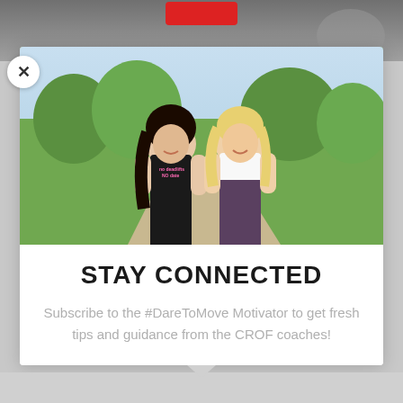[Figure (photo): Top banner image showing a fitness/gym scene, partially visible behind a modal popup]
[Figure (photo): Two smiling women in fitness attire (crop tops and leggings) standing outdoors in a park setting. Left woman has dark hair and wears a black top with text 'no deadlifts no date'. Right woman has blonde hair and wears a white top.]
STAY CONNECTED
Subscribe to the #DareToMove Motivator to get fresh tips and guidance from the CROF coaches!